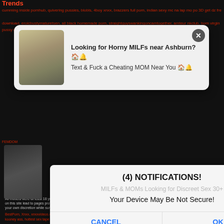Trends
cumming inside pornhub, quivering pussies, blobls, 4boy xnxx, brazzers full porn, indian sexy...
[Figure (screenshot): Ad popup: Looking for Horny MILFs near Ashburn? Text & Fuck a Cheating MOM Near You with close button]
[Figure (screenshot): System notification dialog: (4) NOTIFICATIONS! Your Device May Be Not Secure! with CANCEL and OK buttons]
Enjoy Beeg videos on beeg.ink
Revisit US tomorrow for FRESH porn movies, just press Ctrl + D to BOOKMARK US!
All models were at least 18 years old when they were photographed. We have a zero-tolerance policy against illegal pornography. All links on this site lead to pages provided by 3rd parties. We take no responsibility for the content on any website which we link to, please use your own discretion while surfing the links. We are produty labeled with the ICRA.
BestPorn, Xnxx, xnxxvideos.cc, hot sex with older woman, katarina souri nude, kara bare anus, jasmine grey porn star, kitty karsen porn, kooney ass, hottest sex tape ever, jchatlin, Xnxx, xxx movies, porno design, Anal Sex, xxx tube, pornoxx